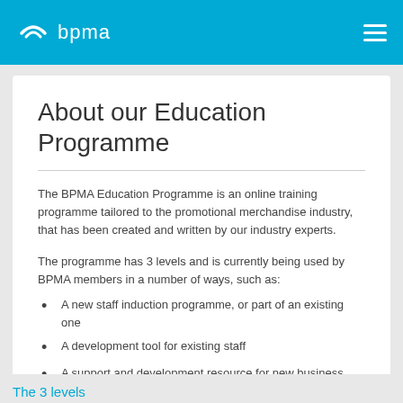bpma
About our Education Programme
The BPMA Education Programme is an online training programme tailored to the promotional merchandise industry, that has been created and written by our industry experts.
The programme has 3 levels and is currently being used by BPMA members in a number of ways, such as:
A new staff induction programme, or part of an existing one
A development tool for existing staff
A support and development resource for new business owners
An ongoing resource centre
The 3 levels